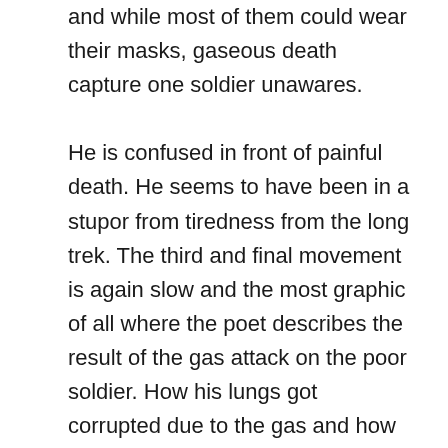and while most of them could wear their masks, gaseous death capture one soldier unawares.

He is confused in front of painful death. He seems to have been in a stupor from tiredness from the long trek. The third and final movement is again slow and the most graphic of all where the poet describes the result of the gas attack on the poor soldier. How his lungs got corrupted due to the gas and how the movement of the blood makes certain sounds while they carry the dead soldier on a cart. The climax of this episode comes when the poet declares that after looking at this farce one